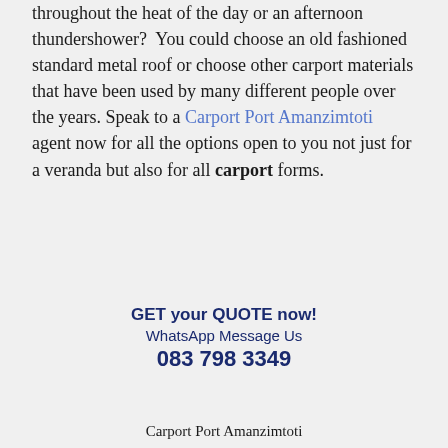throughout the heat of the day or an afternoon thundershower?  You could choose an old fashioned standard metal roof or choose other carport materials that have been used by many different people over the years. Speak to a Carport Port Amanzimtoti agent now for all the options open to you not just for a veranda but also for all carport forms.
GET your QUOTE now! WhatsApp Message Us 083 798 3349
Carport Port Amanzimtoti